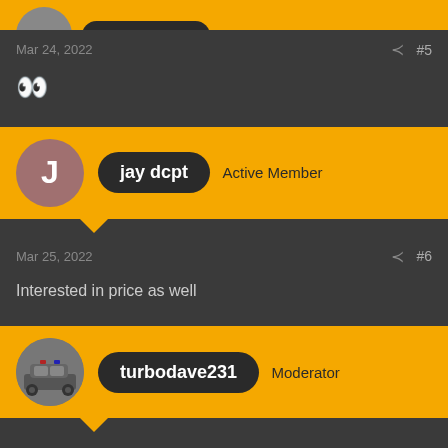[Figure (other): Top of forum post with yellow header (partially visible), showing cutoff avatar and username area]
Mar 24, 2022  #5
👀
[Figure (other): Forum post header for user 'jay dcpt' with Active Member role, yellow background, circular avatar with letter J]
Mar 25, 2022  #6
Interested in price as well
[Figure (other): Forum post header for user 'turbodave231' with Moderator role, yellow background, circular avatar with car photo]
Mar 28, 2022  #7